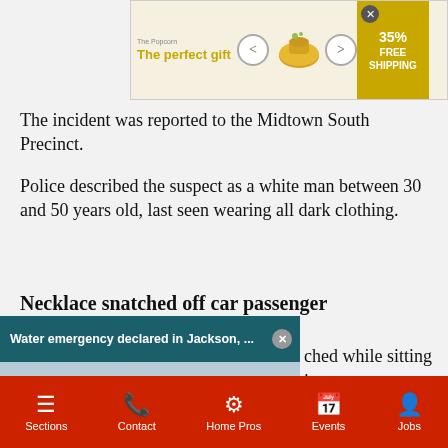[Figure (screenshot): Advertisement banner: 'The perfect gift' with bowl image, navigation arrows, 35% FREE SHIPPING offer]
The incident was reported to the Midtown South Precinct.
Police described the suspect as a white man between 30 and 50 years old, last seen wearing all dark clothing.
Necklace snatched off car passenger
An elderly woman had her necklace snatched while sitting in a car ...istrict, according to police.
...ger side of a vehicle in ...ear 6th Avenue on Sept. 14 ...lown and the car was
[Figure (screenshot): Video popup overlay: 'Water emergency declared in Jackson, ...' showing City of Jackson Mississippi water tower with seal]
Sections  Contact  Home Pros  Events  Jobs